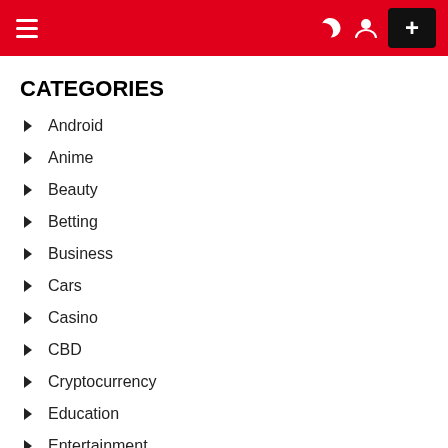Navigation header with hamburger menu, moon icon, user icon, and plus button
CATEGORIES
Android
Anime
Beauty
Betting
Business
Cars
Casino
CBD
Cryptocurrency
Education
Entertainment
Fashion
Featured
Food
Food & Drink
Gaming